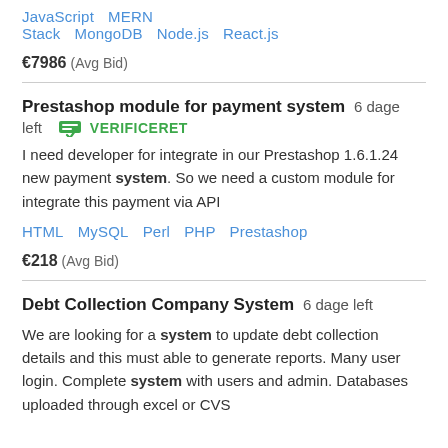JavaScript   MERN Stack   MongoDB   Node.js   React.js
€7986  (Avg Bid)
Prestashop module for payment system  6 dage left   VERIFICERET
I need developer for integrate in our Prestashop 1.6.1.24 new payment system. So we need a custom module for integrate this payment via API
HTML   MySQL   Perl   PHP   Prestashop
€218  (Avg Bid)
Debt Collection Company System  6 dage left
We are looking for a system to update debt collection details and this must able to generate reports. Many user login. Complete system with users and admin. Databases uploaded through excel or CVS